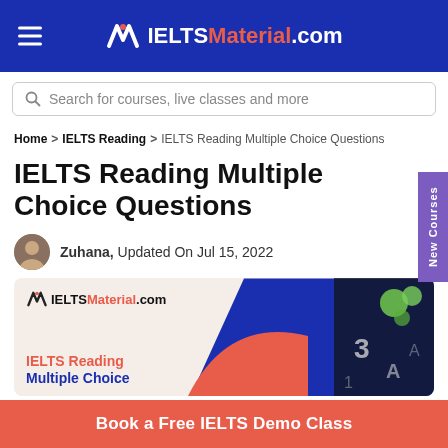IELTSMaterial.com
Search for courses, live classes and more
Home > IELTS Reading > IELTS Reading Multiple Choice Questions
IELTS Reading Multiple Choice Questions
Zuhana, Updated On Jul 15, 2022
[Figure (illustration): IELTSMaterial.com banner showing IELTS Reading Multiple Choice text with blue and red design elements and multiple choice answer buttons on the right]
New Courses
Book a Free IELTS Demo Class